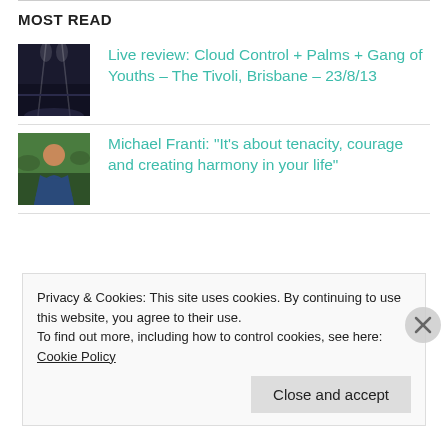MOST READ
[Figure (photo): Dark concert photo with stage lights]
Live review: Cloud Control + Palms + Gang of Youths – The Tivoli, Brisbane – 23/8/13
[Figure (photo): Portrait of Michael Franti outdoors]
Michael Franti: "It's about tenacity, courage and creating harmony in your life"
Privacy & Cookies: This site uses cookies. By continuing to use this website, you agree to their use.
To find out more, including how to control cookies, see here: Cookie Policy